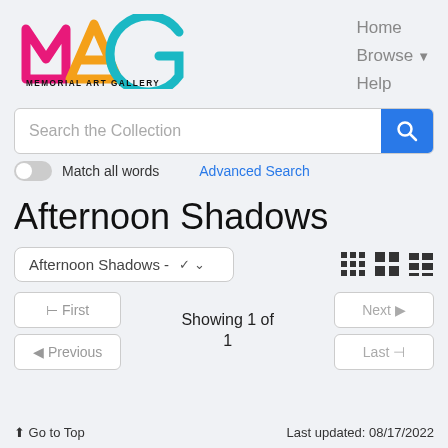[Figure (logo): Memorial Art Gallery (MAG) logo with colorful letters M (pink), A (orange), G (teal) and text MEMORIAL ART GALLERY UNIVERSITY OF ROCHESTER]
Home
Browse ▼
Help
Search the Collection
Match all words   Advanced Search
Afternoon Shadows
Afternoon Shadows -
Showing 1 of 1
⊣ First   ◀ Previous   Next ▶   Last ⊢
⬆ Go to Top    Last updated: 08/17/2022